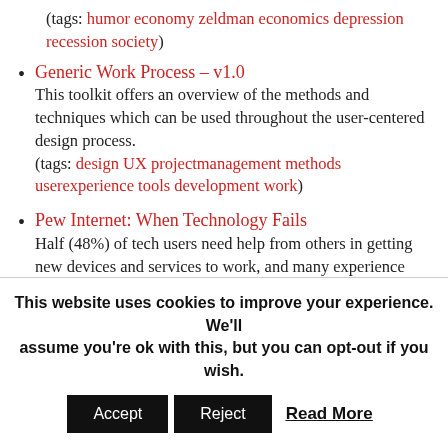(tags: humor economy zeldman economics depression recession society)
Generic Work Process – v1.0
This toolkit offers an overview of the methods and techniques which can be used throughout the user-centered design process.
(tags: design UX projectmanagement methods userexperience tools development work)
Pew Internet: When Technology Fails
Half (48%) of tech users need help from others in getting new devices and services to work, and many experience tech outages when there is a glitch with their home internet connection, computer, or cell phone. Coping with these
This website uses cookies to improve your experience. We'll assume you're ok with this, but you can opt-out if you wish.
Accept  Reject  Read More